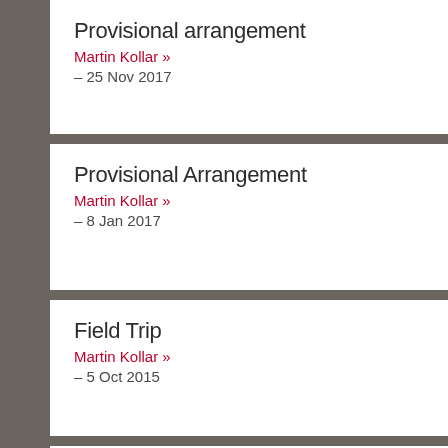Provisional arrangement
Martin Kollar »
– 25 Nov 2017
Provisional Arrangement
Martin Kollar »
– 8 Jan 2017
Field Trip
Martin Kollar »
– 5 Oct 2015
Field Trip
Martin Kollar »
– 31 May 2015
[Figure (photo): Thumbnail photo for Field Trip entry, partially visible at bottom of page]